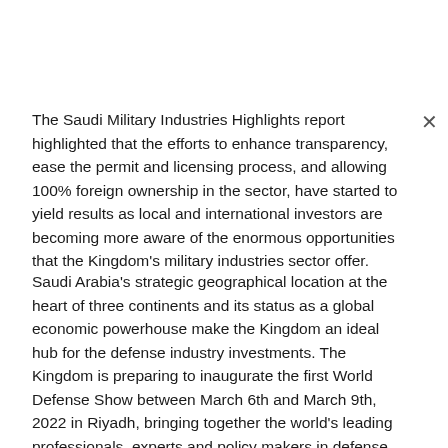The Saudi Military Industries Highlights report highlighted that the efforts to enhance transparency, ease the permit and licensing process, and allowing 100% foreign ownership in the sector, have started to yield results as local and international investors are becoming more aware of the enormous opportunities that the Kingdom's military industries sector offer.
Saudi Arabia's strategic geographical location at the heart of three continents and its status as a global economic powerhouse make the Kingdom an ideal hub for the defense industry investments. The Kingdom is preparing to inaugurate the first World Defense Show between March 6th and March 9th, 2022 in Riyadh, bringing together the world's leading professionals, experts and policy makers in defense industry.